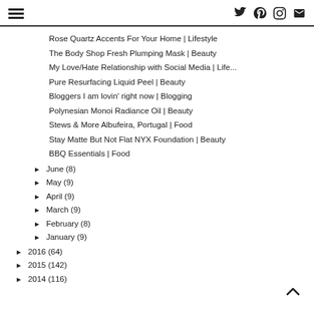[hamburger menu icon] [twitter] [pinterest] [instagram] [email]
Rose Quartz Accents For Your Home | Lifestyle
The Body Shop Fresh Plumping Mask | Beauty
My Love/Hate Relationship with Social Media | Life...
Pure Resurfacing Liquid Peel | Beauty
Bloggers I am lovin' right now | Blogging
Polynesian Monoi Radiance Oil | Beauty
Stews & More Albufeira, Portugal | Food
Stay Matte But Not Flat NYX Foundation | Beauty
BBQ Essentials | Food
► June (8)
► May (9)
► April (9)
► March (9)
► February (8)
► January (9)
► 2016 (64)
► 2015 (142)
► 2014 (116)